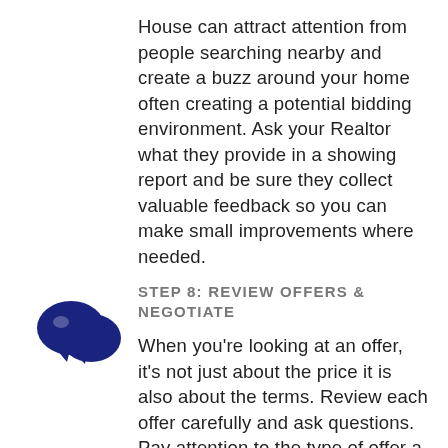House can attract attention from people searching nearby and create a buzz around your home often creating a potential bidding environment. Ask your Realtor what they provide in a showing report and be sure they collect valuable feedback so you can make small improvements where needed.
[Figure (illustration): Dark navy blue speech bubble / chat bubbles icon — two overlapping speech bubbles]
STEP 8: REVIEW OFFERS & NEGOTIATE
When you're looking at an offer, it's not just about the price it is also about the terms. Review each offer carefully and ask questions. Pay attention to the type of offer a buyer is making;